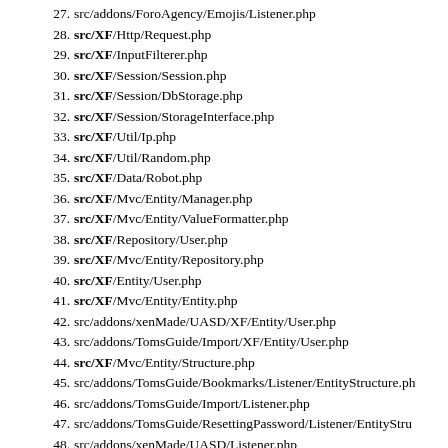27. src/addons/ForoAgency/Emojis/Listener.php
28. src/XF/Http/Request.php
29. src/XF/InputFilterer.php
30. src/XF/Session/Session.php
31. src/XF/Session/DbStorage.php
32. src/XF/Session/StorageInterface.php
33. src/XF/Util/Ip.php
34. src/XF/Util/Random.php
35. src/XF/Data/Robot.php
36. src/XF/Mvc/Entity/Manager.php
37. src/XF/Mvc/Entity/ValueFormatter.php
38. src/XF/Repository/User.php
39. src/XF/Mvc/Entity/Repository.php
40. src/XF/Entity/User.php
41. src/XF/Mvc/Entity/Entity.php
42. src/addons/xenMade/UASD/XF/Entity/User.php
43. src/addons/TomsGuide/Import/XF/Entity/User.php
44. src/XF/Mvc/Entity/Structure.php
45. src/addons/TomsGuide/Bookmarks/Listener/EntityStructure.php
46. src/addons/TomsGuide/Import/Listener.php
47. src/addons/TomsGuide/ResettingPassword/Listener/EntityStru...
48. src/addons/xenMade/UASD/Listener.php
49. src/XF/Entity/UserAuth.php
50. src/XF/Entity/UserOption.php
51. src/XF/Entity/UserProfile.php